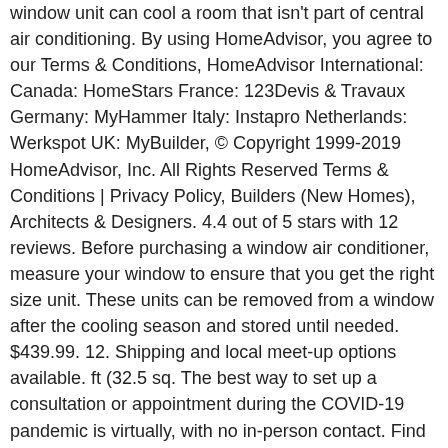window unit can cool a room that isn't part of central air conditioning. By using HomeAdvisor, you agree to our Terms & Conditions, HomeAdvisor International: Canada: HomeStars France: 123Devis & Travaux Germany: MyHammer Italy: Instapro Netherlands: Werkspot UK: MyBuilder, © Copyright 1999-2019 HomeAdvisor, Inc. All Rights Reserved Terms & Conditions | Privacy Policy, Builders (New Homes), Architects & Designers. 4.4 out of 5 stars with 12 reviews. Before purchasing a window air conditioner, measure your window to ensure that you get the right size unit. These units can be removed from a window after the cooling season and stored until needed. $439.99. 12. Shipping and local meet-up options available. ft (32.5 sq. The best way to set up a consultation or appointment during the COVID-19 pandemic is virtually, with no in-person contact. Find the best Car Window Replacement near you on Yelp - see all Car Window Replacement open now. Find here Window Air Conditioner, Air Conditioner Window Unit, Window AC suppliers, manufacturers, wholesalers, traders with Window Air Conditioner prices for buying. OLX